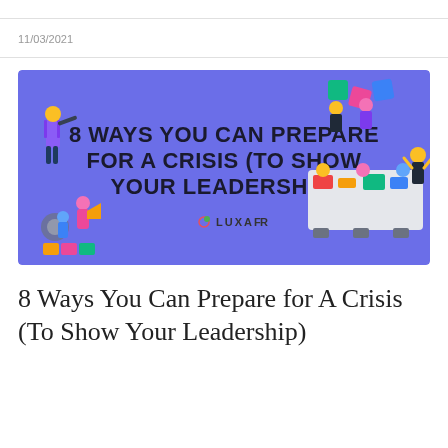11/03/2021
[Figure (illustration): Blue banner image with bold text '8 WAYS YOU CAN PREPARE FOR A CRISIS (TO SHOW YOUR LEADERSHIP)' and 'LUXAFOR' branding, featuring isometric illustrations of business people collaborating, solving puzzles, and using binoculars on a blue/purple background.]
8 Ways You Can Prepare for A Crisis (To Show Your Leadership)